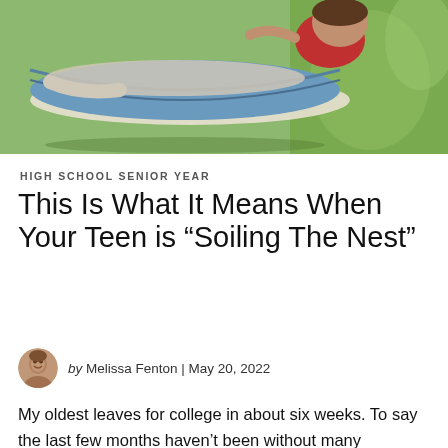[Figure (photo): Person lying in a blue hammock outdoors on grass, reading or relaxing, wearing a red shirt, viewed from above.]
HIGH SCHOOL SENIOR YEAR
This Is What It Means When Your Teen is “Soiling The Nest”
by Melissa Fenton | May 20, 2022
My oldest leaves for college in about six weeks. To say the last few months haven't been without many aggravations, unwarranted aggressions, flaring tempers, and angry outbursts would be a big, fat lie because they have — a lot.  I've been told this is a